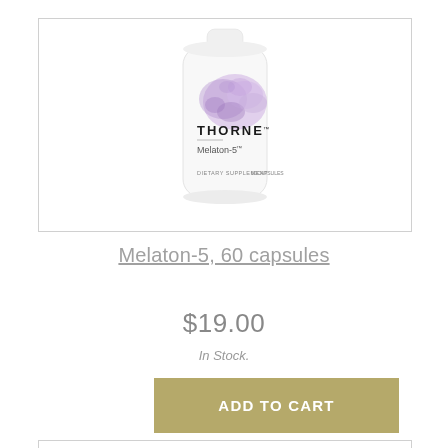[Figure (photo): Thorne Melaton-5 supplement bottle with purple floral design, white bottle with cap, labeled THORNE Melaton-5 Dietary Supplement 60 capsules]
Melaton-5, 60 capsules
$19.00
In Stock.
ADD TO CART